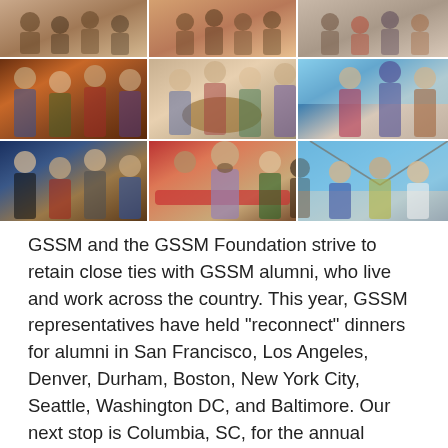[Figure (photo): A collage of nine photos arranged in a 3x3 grid showing GSSM alumni gatherings and reconnect dinners in various cities. Photos show groups of people dining together at restaurants and outdoor settings.]
GSSM and the GSSM Foundation strive to retain close ties with GSSM alumni, who live and work across the country. This year, GSSM representatives have held "reconnect" dinners for alumni in San Francisco, Los Angeles, Denver, Durham, Boston, New York City, Seattle, Washington DC, and Baltimore. Our next stop is Columbia, SC, for the annual Winter Gathering. All alumni, as well as current and former faculty and staff, are invited to attend.